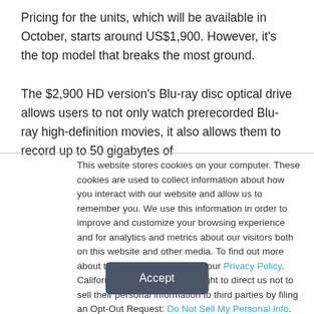Pricing for the units, which will be available in October, starts around US$1,900. However, it's the top model that breaks the most ground.

The $2,900 HD version's Blu-ray disc optical drive allows users to not only watch prerecorded Blu-ray high-definition movies, it also allows them to record up to 50 gigabytes of
This website stores cookies on your computer. These cookies are used to collect information about how you interact with our website and allow us to remember you. We use this information in order to improve and customize your browsing experience and for analytics and metrics about our visitors both on this website and other media. To find out more about the cookies we use, see our Privacy Policy. California residents have the right to direct us not to sell their personal information to third parties by filing an Opt-Out Request: Do Not Sell My Personal Info.